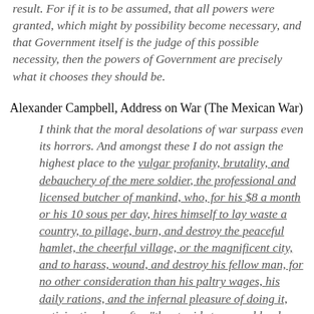result. For if it is to be assumed, that all powers were granted, which might by possibility become necessary, and that Government itself is the judge of this possible necessity, then the powers of Government are precisely what it chooses they should be.
Alexander Campbell, Address on War (The Mexican War)
I think that the moral desolations of war surpass even its horrors. And amongst these I do not assign the highest place to the vulgar profanity, brutality, and debauchery of the mere soldier, the professional and licensed butcher of mankind, who, for his $8 a month or his 10 sous per day, hires himself to lay waste a country, to pillage, burn, and destroy the peaceful hamlet, the cheerful village, or the magnificent city, and to harass, wound, and destroy his fellow man, for no other consideration than his paltry wages, his daily rations, and the infernal pleasure of doing it, anticipating hereafter "the stupid stares and loud buzzes" of monsters as inhuman and heartless